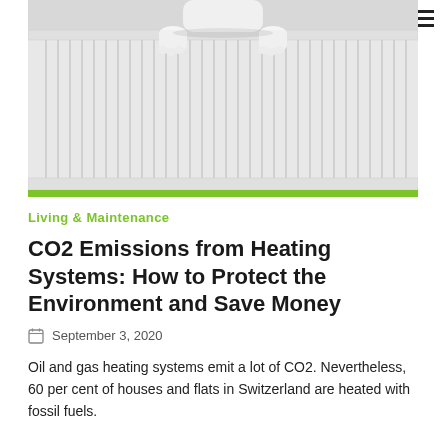[Figure (photo): A cat resting on a white radiator heating panel, paws hanging over the edge, viewed from below. A green bar runs along the bottom of the image.]
Living & Maintenance
CO2 Emissions from Heating Systems: How to Protect the Environment and Save Money
September 3, 2020
Oil and gas heating systems emit a lot of CO2. Nevertheless, 60 per cent of houses and flats in Switzerland are heated with fossil fuels.